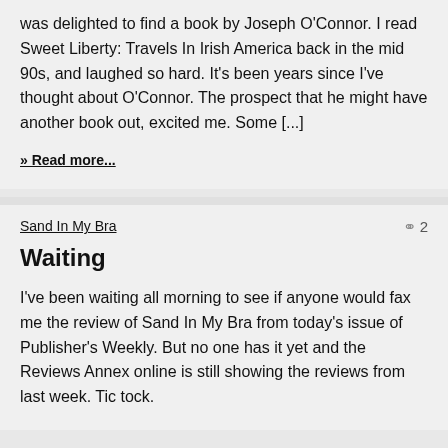was delighted to find a book by Joseph O'Connor. I read Sweet Liberty: Travels In Irish America back in the mid 90s, and laughed so hard. It's been years since I've thought about O'Connor. The prospect that he might have another book out, excited me. Some [...]
» Read more...
Sand In My Bra
◯ 2
Waiting
I've been waiting all morning to see if anyone would fax me the review of Sand In My Bra from today's issue of Publisher's Weekly. But no one has it yet and the Reviews Annex online is still showing the reviews from last week. Tic tock.